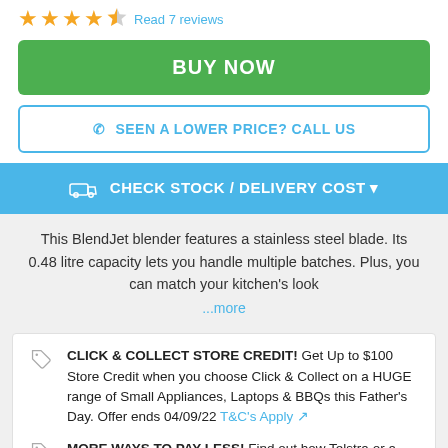[Figure (other): Star rating: 4 out of 5 stars (4 filled, 1 half), with 'Read 7 reviews' link]
BUY NOW
SEEN A LOWER PRICE? CALL US
CHECK STOCK / DELIVERY COST
This BlendJet blender features a stainless steel blade. Its 0.48 litre capacity lets you handle multiple batches. Plus, you can match your kitchen's look ...more
CLICK & COLLECT STORE CREDIT! Get Up to $100 Store Credit when you choose Click & Collect on a HUGE range of Small Appliances, Laptops & BBQs this Father's Day. Offer ends 04/09/22 T&C's Apply
MORE WAYS TO PAY LESS! Find out how Telstra or a Trade In~ could help you PAY LESS on your purchase today! Learn More